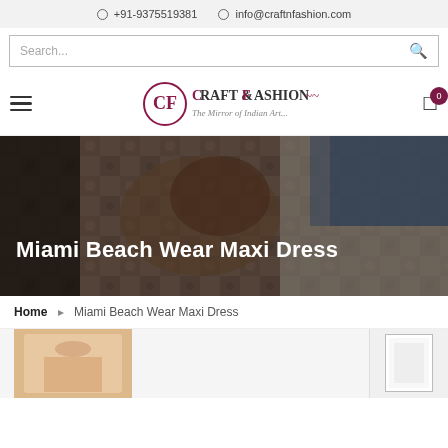+91-9375519381   info@craftnfashion.com
[Figure (logo): Craft & Fashion logo with text 'The Mirror of Indian Art...']
Miami Beach Wear Maxi Dress
Home > Miami Beach Wear Maxi Dress
[Figure (photo): Close-up photo of colorful Indian fabric/textile with beads, used as hero background image for Miami Beach Wear Maxi Dress product page]
[Figure (photo): Small product thumbnail image of the maxi dress, peach/cream colored]